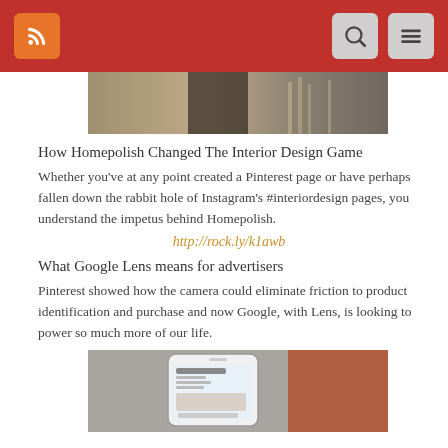[Navigation bar with RSS icon, search, and menu buttons]
[Figure (photo): Partial image of an interior design scene at top of page]
How Homepolish Changed The Interior Design Game
Whether you've at any point created a Pinterest page or have perhaps fallen down the rabbit hole of Instagram's #interiordesign pages, you understand the impetus behind Homepolish.
http://rock.ly/k1awb
What Google Lens means for advertisers
Pinterest showed how the camera could eliminate friction to product identification and purchase and now Google, with Lens, is looking to power so much more of our life.
[Figure (photo): Image of a smartphone showing Google Lens interface with a product shop result]